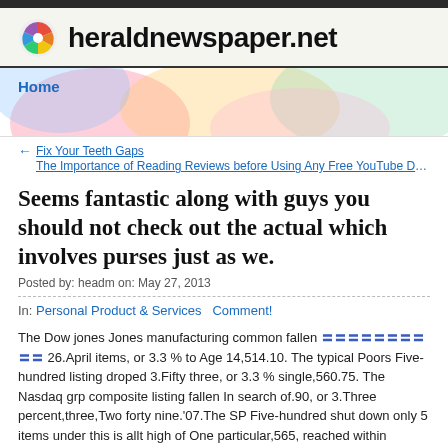heraldnewspaper.net
Home
← Fix Your Teeth Gaps
The Importance of Reading Reviews before Using Any Free YouTube Dow…
Seems fantastic along with guys you should not check out the actual which involves purses just as we.
Posted by: headm on: May 27, 2013
In: Personal Product & Services   Comment!
The Dow jones Jones manufacturing common fallen 〓〓〓〓〓〓〓〓〓〓 26.April items, or 3.3 % to Age 14,514.10. The typical Poors Five-hundred listing droped 3.Fifty three, or 3.3 % single,560.75. The Nasdaq grp composite listing fallen In search of.90, or 3.Three percent,three,Two forty nine.'07.The SP Five-hundred shut down only 5 items under this is allt high of One particular,565, reached within October Two thousand and seven. In Thurs…